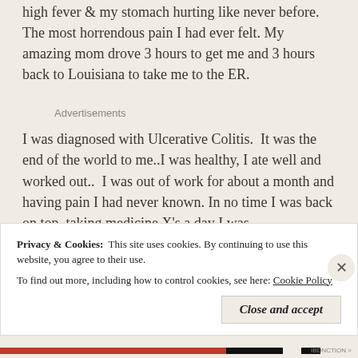high fever & my stomach hurting like never before. The most horrendous pain I had ever felt. My amazing mom drove 3 hours to get me and 3 hours back to Louisiana to take me to the ER.
Advertisements
I was diagnosed with Ulcerative Colitis.  It was the end of the world to me..I was healthy, I ate well and worked out..  I was out of work for about a month and having pain I had never known. In no time I was back on top, taking medicine X's a day I was
Privacy & Cookies:  This site uses cookies. By continuing to use this website, you agree to their use.
To find out more, including how to control cookies, see here: Cookie Policy
Close and accept